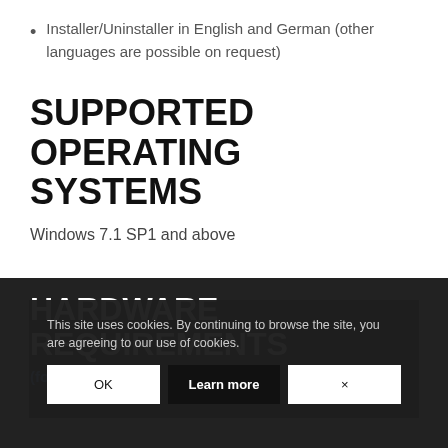Installer/Uninstaller in English and German (other languages are possible on request)
SUPPORTED OPERATING SYSTEMS
Windows 7.1 SP1 and above
HARDWARE REQUIREMENTS
(for our
This site uses cookies. By continuing to browse the site, you are agreeing to our use of cookies.